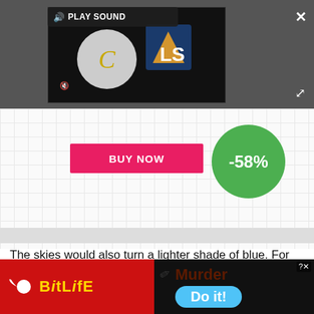[Figure (screenshot): Video ad player with dark background showing a loading spinner (circle with C), LS logo, PLAY SOUND bar, mute icon, close X button, and expand arrows]
[Figure (screenshot): Game advertisement with grid background showing a pink BUY NOW button and green -58% discount circle]
The skies would also turn a lighter shade of blue. For comparison, the scientists said the world's skies would appear more like those hovering over cities — white and hazy.
[Figure (screenshot): BitLife game advertisement banner: left side red background with sperm logo and BitLife text in yellow, right side dark background with pencil, Murder text, Do it! blue button, and close X]